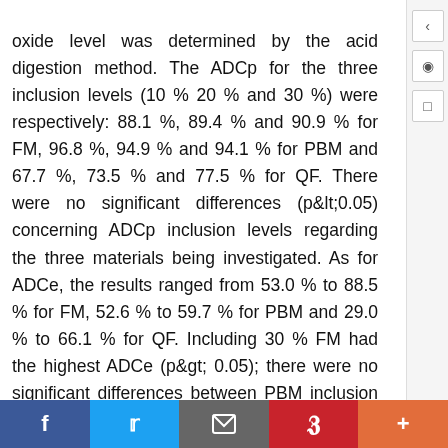oxide level was determined by the acid digestion method. The ADCp for the three inclusion levels (10 % 20 % and 30 %) were respectively: 88.1 %, 89.4 % and 90.9 % for FM, 96.8 %, 94.9 % and 94.1 % for PBM and 67.7 %, 73.5 % and 77.5 % for QF. There were no significant differences (p&lt;0.05) concerning ADCp inclusion levels regarding the three materials being investigated. As for ADCe, the results ranged from 53.0 % to 88.5 % for FM, 52.6 % to 59.7 % for PBM and 29.0 % to 66.1 % for QF. Including 30 % FM had the highest ADCe (p&gt; 0.05); there were no significant differences between PBM inclusion levels and QF was significantly lower (10 % inclusion level).Key words: Apparent digestibility coefficient, nutrition, alternative matter, proximate
f  t  [email icon]  p  +